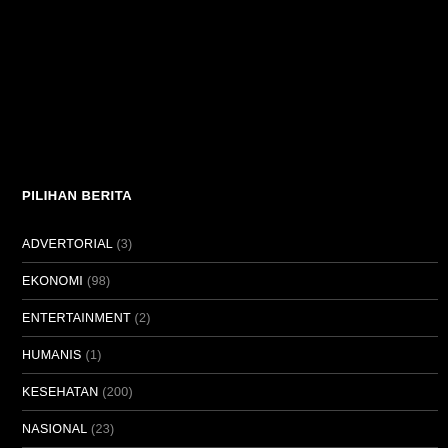PILIHAN BERITA
ADVERTORIAL (3)
EKONOMI (98)
ENTERTAINMENT (2)
HUMANIS (1)
KESEHATAN (200)
NASIONAL (23)